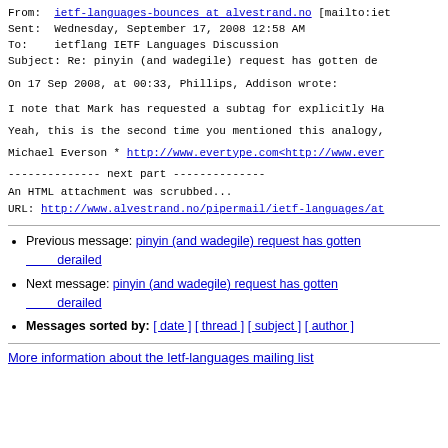From: ietf-languages-bounces at alvestrand.no [mailto:iet
Sent: Wednesday, September 17, 2008 12:58 AM
To: ietflang IETF Languages Discussion
Subject: Re: pinyin (and wadegile) request has gotten de
On 17 Sep 2008, at 00:33, Phillips, Addison wrote:
I note that Mark has requested a subtag for explicitly Ha
Yeah, this is the second time you mentioned this analogy,
Michael Everson * http://www.evertype.com<http://www.ever
-------------- next part --------------
An HTML attachment was scrubbed...
URL: http://www.alvestrand.no/pipermail/ietf-languages/at
Previous message: pinyin (and wadegile) request has gotten derailed
Next message: pinyin (and wadegile) request has gotten derailed
Messages sorted by: [ date ] [ thread ] [ subject ] [ author ]
More information about the Ietf-languages mailing list